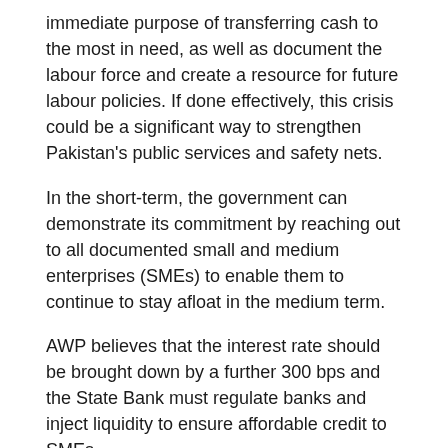immediate purpose of transferring cash to the most in need, as well as document the labour force and create a resource for future labour policies. If done effectively, this crisis could be a significant way to strengthen Pakistan's public services and safety nets.
In the short-term, the government can demonstrate its commitment by reaching out to all documented small and medium enterprises (SMEs) to enable them to continue to stay afloat in the medium term.
AWP believes that the interest rate should be brought down by a further 300 bps and the State Bank must regulate banks and inject liquidity to ensure affordable credit to SMEs.
AWP leaders also called for the cancellation of payments of all utility bills below 500 units for the next two months to ensure people do not have their utilities cut in the emergency period.
The AWP also demanded nationalisation of power generation projects to bring down posts as the capacity payments of